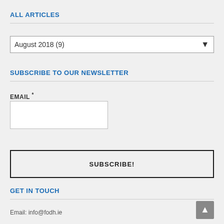ALL ARTICLES
August 2018  (9)
SUBSCRIBE TO OUR NEWSLETTER
EMAIL *
SUBSCRIBE!
GET IN TOUCH
Email: info@fodh.ie